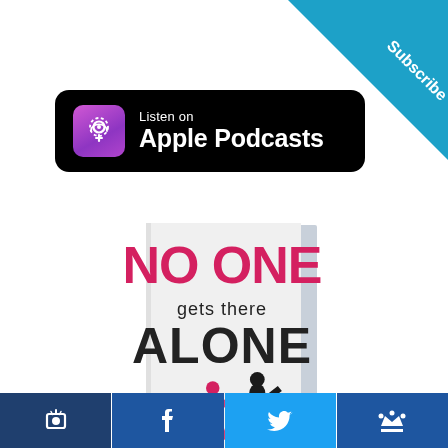[Figure (logo): Subscribe corner banner triangle in blue with white text 'Subscribe' rotated diagonally in the top-right corner]
[Figure (logo): Apple Podcasts badge: black rounded rectangle with purple podcast icon and white text 'Listen on Apple Podcasts']
[Figure (illustration): Book cover showing 'NO ONE gets there ALONE' with two runners silhouette in red and black, white background, displayed as a 3D book with slight perspective]
[Figure (infographic): Bottom social media bar with four icons: Podchaser (dark navy), Facebook (blue), Twitter (light blue), and a crown/king icon (blue)]